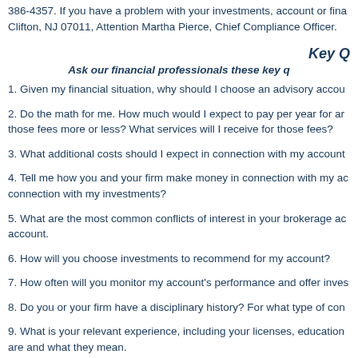386-4357. If you have a problem with your investments, account or fina Clifton, NJ 07011, Attention Martha Pierce, Chief Compliance Officer.
Key Q
Ask our financial professionals these key q
1. Given my financial situation, why should I choose an advisory accou
2. Do the math for me. How much would I expect to pay per year for ar those fees more or less? What services will I receive for those fees?
3. What additional costs should I expect in connection with my account
4. Tell me how you and your firm make money in connection with my ac connection with my investments?
5. What are the most common conflicts of interest in your brokerage ac account.
6. How will you choose investments to recommend for my account?
7. How often will you monitor my account's performance and offer inves
8. Do you or your firm have a disciplinary history? For what type of con
9. What is your relevant experience, including your licenses, education are and what they mean.